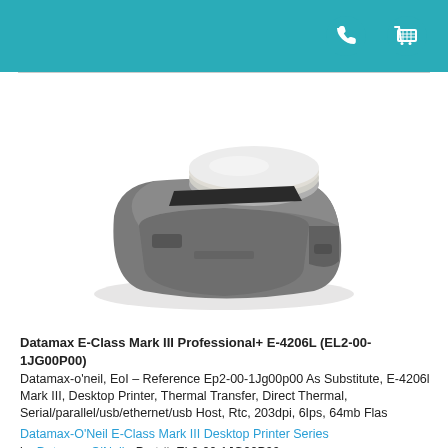[teal header bar with phone and cart icons]
[Figure (photo): Photo of a Datamax E-Class Mark III compact desktop thermal label printer in gray, shown at an angle with a paper roll loaded on top.]
Datamax E-Class Mark III Professional+ E-4206L (EL2-00-1JG00P00)
Datamax-o'neil, EoI – Reference Ep2-00-1Jg00p00 As Substitute, E-4206l Mark III, Desktop Printer, Thermal Transfer, Direct Thermal, Serial/parallel/usb/ethernet/usb Host, Rtc, 203dpi, 6Ips, 64mb Flas
Datamax-O'Neil E-Class Mark III Desktop Printer Series
by Datamax-O'Neil • Part #: EL2-00-1JG00P00
The E-Class Mark III is a family of compact desktop thermal printers